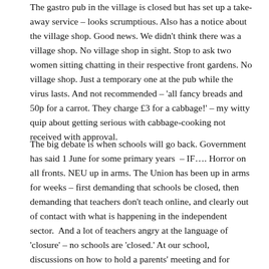The gastro pub in the village is closed but has set up a take-away service – looks scrumptious. Also has a notice about the village shop. Good news. We didn't think there was a village shop. No village shop in sight. Stop to ask two women sitting chatting in their respective front gardens. No village shop. Just a temporary one at the pub while the virus lasts. And not recommended – 'all fancy breads and 50p for a carrot. They charge £3 for a cabbage!' – my witty quip about getting serious with cabbage-cooking not received with approval.
The big debate is when schools will go back. Government has said 1 June for some primary years – IF…. Horror on all fronts. NEU up in arms. The Union has been up in arms for weeks – first demanding that schools be closed, then demanding that teachers don't teach online, and clearly out of contact with what is happening in the independent sector. And a lot of teachers angry at the language of 'closure' – no schools are 'closed.' At our school, discussions on how to hold a parents' meeting and for which years? A Virtual Open Day for prospective pupils happened a week or so ago. And one of the boys has challenged everyone to a lock-down photography competition. But it looks like we won't be back until September and